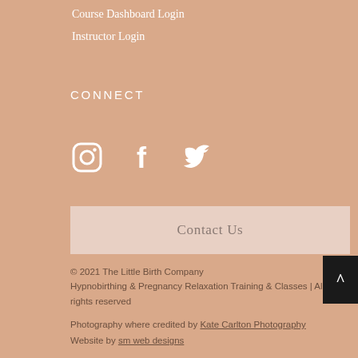Course Dashboard Login
Instructor Login
CONNECT
[Figure (illustration): Three white social media icons: Instagram, Facebook, and Twitter]
Contact Us
© 2021 The Little Birth Company
Hypnobirthing & Pregnancy Relaxation Training & Classes | All rights reserved
Photography where credited by Kate Carlton Photography
Website by sm web designs